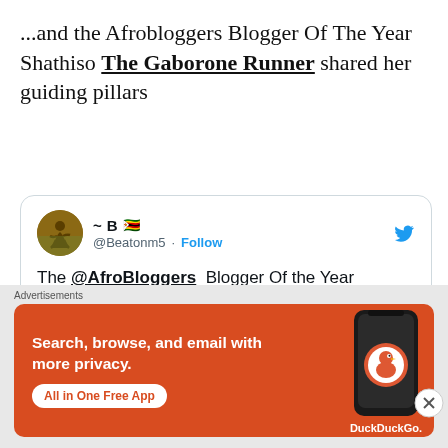...and the Afrobloggers Blogger Of The Year Shathiso The Gaborone Runner shared her guiding pillars
[Figure (screenshot): Embedded tweet from @Beatonm5 referencing The @AfroBloggers Blogger Of the Year Shathiso sharing the 3 pillars that guide her, with a Zimbabwe flag emoji and a Follow button.]
[Figure (infographic): DuckDuckGo advertisement banner: orange background with text 'Search, browse, and email with more privacy. All in One Free App' alongside an illustration of a smartphone with the DuckDuckGo logo.]